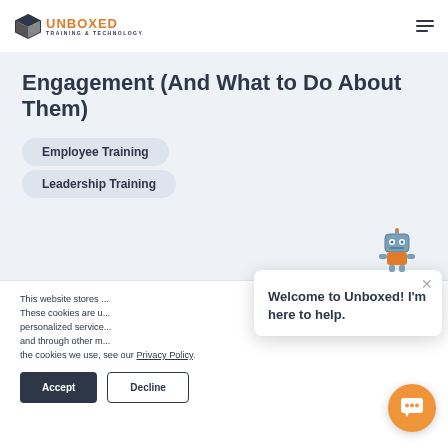UNBOXED TRAINING & TECHNOLOGY
Engagement (And What to Do About Them)
Employee Training
Leadership Training
This website stores ... These cookies are u... personalized service... and through other m... the cookies we use, see our Privacy Policy.
Welcome to Unboxed! I'm here to help.